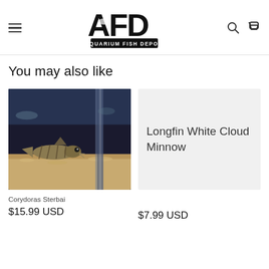[Figure (logo): Aquarium Fish Depot (AFD) logo with stylized fish silhouette and text AQUARIUM FISH DEPOT]
You may also like
[Figure (photo): Photo of a Corydoras Sterbai fish on sandy substrate inside an aquarium, viewed through glass]
[Figure (other): Light gray placeholder card for Longfin White Cloud Minnow product with text Longfin White Cloud Minnow]
Corydoras Sterbai
$15.99 USD
$7.99 USD